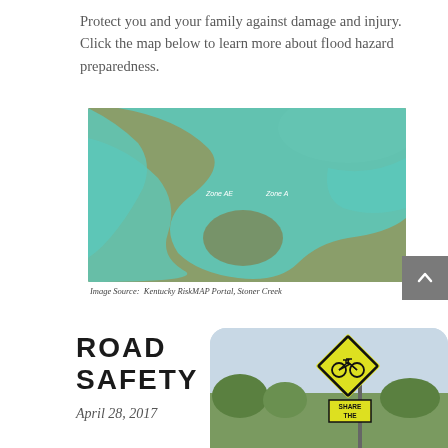Protect you and your family against damage and injury.  Click the map below to learn more about flood hazard preparedness.
[Figure (map): Aerial map of Stoner Creek flood hazard zones, showing teal/turquoise overlay indicating flood plains along a winding creek with surrounding green land. White labels mark Zone A and Zone AE areas.]
Image Source:  Kentucky RiskMAP Portal, Stoner Creek
ROAD SAFETY
April 28, 2017
[Figure (photo): Photo of a yellow diamond-shaped bicycle caution road sign with a bicycle symbol, and below it a yellow rectangular 'SHARE THE ROAD' sign, against a sky and tree background.]